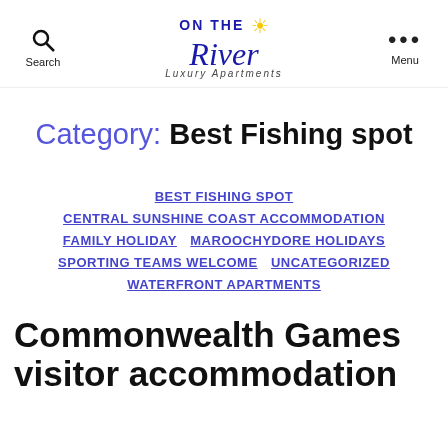Search | On The River Luxury Apartments | Menu
Category: Best Fishing spot
BEST FISHING SPOT
CENTRAL SUNSHINE COAST ACCOMMODATION
FAMILY HOLIDAY
MAROOCHYDORE HOLIDAYS
SPORTING TEAMS WELCOME
UNCATEGORIZED
WATERFRONT APARTMENTS
Commonwealth Games visitor accommodation